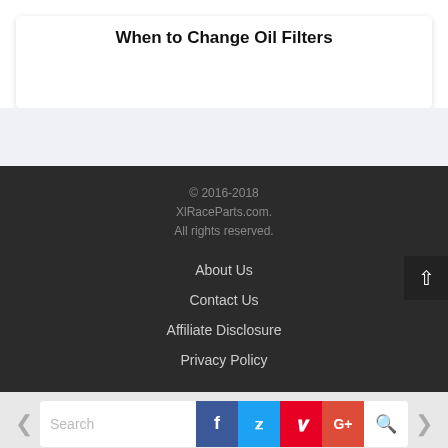When to Change Oil Filters
© 2016-2018 XlRaceParts.com. All rights reserved.
About Us
Contact Us
Affiliate Disclosure
Privacy Policy